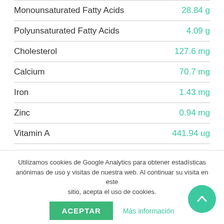| Nutrient | Amount |
| --- | --- |
| Monounsaturated Fatty Acids | 28.84 g |
| Polyunsaturated Fatty Acids | 4.09 g |
| Cholesterol | 127.6 mg |
| Calcium | 70.7 mg |
| Iron | 1.43 mg |
| Zinc | 0.94 mg |
| Vitamin A | 441.94 ug |
| Vitamin C | 32.44 g |
| Folic Acid | 31.07 ug |
| Salt (Sodium) | 1005.81 mg |
| Sugars | 9.13 g |
Utilizamos cookies de Google Analytics para obtener estadísticas anónimas de uso y visitas de nuestra web. Al continuar su visita en este sitio, acepta el uso de cookies.
ACEPTAR   Más información